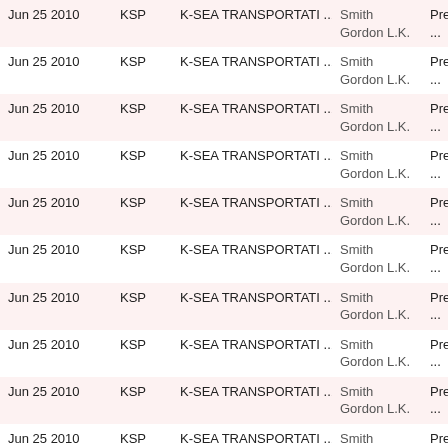| Date | Ticker | Company | Name | Role |
| --- | --- | --- | --- | --- |
| Jun 25 2010 | KSP | K-SEA TRANSPORTATI ... | Smith Gordon L.K. | President ... |
| Jun 25 2010 | KSP | K-SEA TRANSPORTATI ... | Smith Gordon L.K. | President ... |
| Jun 25 2010 | KSP | K-SEA TRANSPORTATI ... | Smith Gordon L.K. | President ... |
| Jun 25 2010 | KSP | K-SEA TRANSPORTATI ... | Smith Gordon L.K. | President ... |
| Jun 25 2010 | KSP | K-SEA TRANSPORTATI ... | Smith Gordon L.K. | President ... |
| Jun 25 2010 | KSP | K-SEA TRANSPORTATI ... | Smith Gordon L.K. | President ... |
| Jun 25 2010 | KSP | K-SEA TRANSPORTATI ... | Smith Gordon L.K. | President ... |
| Jun 25 2010 | KSP | K-SEA TRANSPORTATI ... | Smith Gordon L.K. | President ... |
| Jun 25 2010 | KSP | K-SEA TRANSPORTATI ... | Smith Gordon L.K. | President ... |
| Jun 25 2010 | KSP | K-SEA TRANSPORTATI ... | Smith Gordon L.K. | President ... |
| Jun 25 2010 | KSP | K-SEA TRANSPORTATI ... | Smith Gordon L.K. | President ... |
| Jun 25 2010 | KSP | K-SEA TRANSPORTATI ... | Smith Gordon L.K. | President ... |
| Jun 25 2010 | KSP | K-SEA TRANSPORTATI ... | Smith Gordon L.K. | President ... |
| Jun 25 2010 | KSP | K-SEA TRANSPORTATI ... | Smith | President ... |